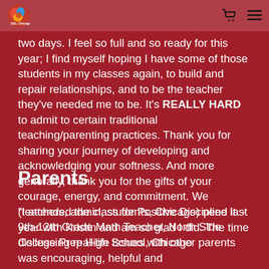SEL Chicago
two days. I feel so full and so ready for this year; I find myself hoping I have some of those students in my classes again, to build and repair relationships, and to be the teacher they've needed me to be. It's REALLY HARD to admit to certain traditional teaching/parenting practices. Thank you for sharing your journey of developing and acknowledging your softness. And more generally, thank you for the gifts of your courage, energy, and commitment. We (teachers, admin, students, Chicago) need it. - 9th-12th Grade Math Teacher, North Side College Prep High School, Chicago
Parents
"I attended the class for Positive Discipline last year with Kristin and am so glad I did. The time discussing real-life issues with other parents was encouraging, helpful and